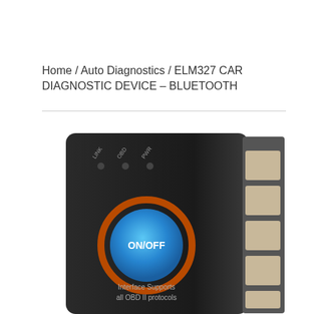Home / Auto Diagnostics / ELM327 CAR DIAGNOSTIC DEVICE – BLUETOOTH
[Figure (photo): Close-up photo of a black ELM327 OBD-II Bluetooth car diagnostic device. The front face shows three indicator LEDs labeled LINK, OBD, and PWR. There is a large blue ON/OFF button with an orange ring around it in the center. The right side of the device shows the OBD-II connector pins. Text at the bottom reads 'Interface Supports all OBD II protocols'.]